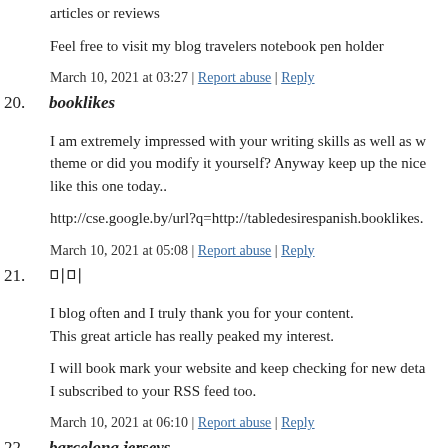articles or reviews
Feel free to visit my blog travelers notebook pen holder
March 10, 2021 at 03:27 | Report abuse | Reply
20. booklikes
I am extremely impressed with your writing skills as well as w theme or did you modify it yourself? Anyway keep up the nice like this one today..
http://cse.google.by/url?q=http://tabledesirespanish.booklikes.
March 10, 2021 at 05:08 | Report abuse | Reply
21. 미미
I blog often and I truly thank you for your content. This great article has really peaked my interest.
I will book mark your website and keep checking for new deta I subscribed to your RSS feed too.
March 10, 2021 at 06:10 | Report abuse | Reply
22. barcelona jerseys
Wonderful article! We are linking to this particularly great artic